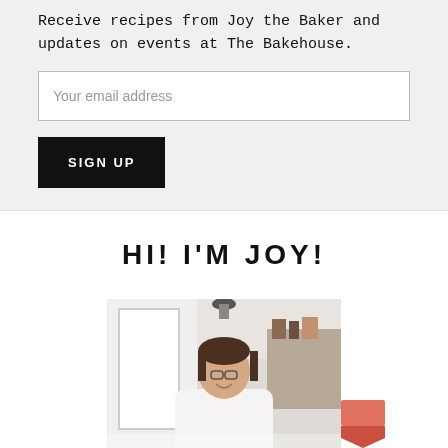Receive recipes from Joy the Baker and updates on events at The Bakehouse.
Your email address
SIGN UP
HI! I'M JOY!
[Figure (photo): Photo of a smiling woman with glasses in a white top, in a bright kitchen/bakehouse environment. Image partially cut off at bottom. Pink/red button widget visible at lower right.]